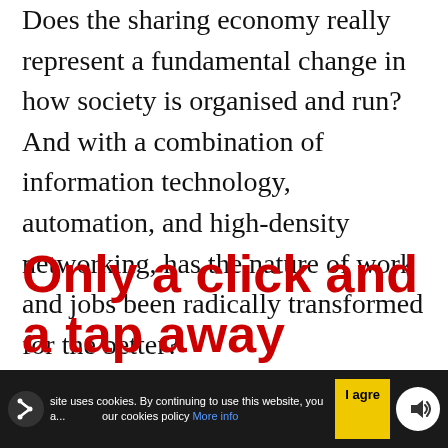Does the sharing economy really represent a fundamental change in how society is organised and run? And with a combination of information technology, automation, and high-density networking, has the nature of work and jobs been radically transformed for the better?
Only a click and a tap away
AirBnB and Uber are just the best known
site uses cookies. By continuing to use this website, you a... our cookies policy More info